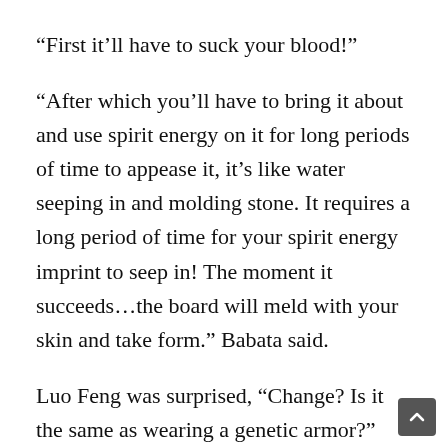“First it’ll have to suck your blood!”
“After which you’ll have to bring it about and use spirit energy on it for long periods of time to appease it, it’s like water seeping in and molding stone. It requires a long period of time for your spirit energy imprint to seep in! The moment it succeeds…the board will meld with your skin and take form.” Babata said.
Luo Feng was surprised, “Change? Is it the same as wearing a genetic armor?”
“Even though it can take the shape of armor, the board doesn’t have the auto defensive ability! It’s armor form will at most be similar to your outermost armor right now, only taking the brunt of impact.” Babata said, “It’s proficiency is